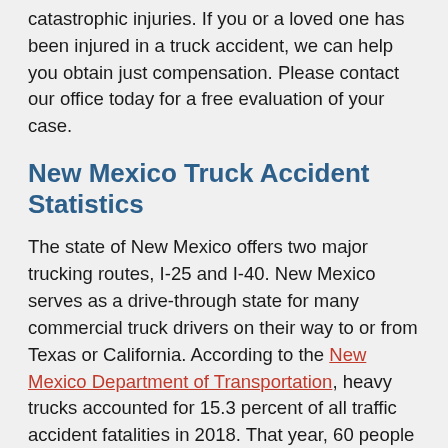catastrophic injuries. If you or a loved one has been injured in a truck accident, we can help you obtain just compensation. Please contact our office today for a free evaluation of your case.
New Mexico Truck Accident Statistics
The state of New Mexico offers two major trucking routes, I-25 and I-40. New Mexico serves as a drive-through state for many commercial truck drivers on their way to or from Texas or California. According to the New Mexico Department of Transportation, heavy trucks accounted for 15.3 percent of all traffic accident fatalities in 2018. That year, 60 people died in truck accidents, nearly 100 people suffered serious injuries, and 325 people suffered minor injuries. The number of New Mexico truck accidents rose to 2,668, the highest number of accidents in